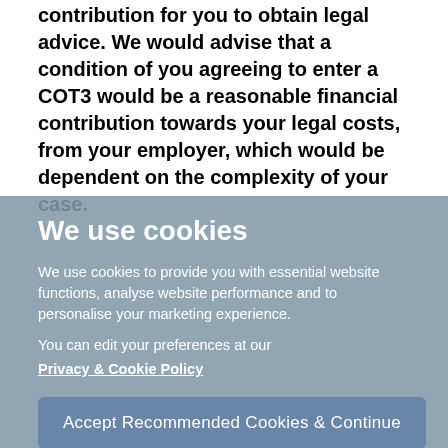contribution for you to obtain legal advice. We would advise that a condition of you agreeing to enter a COT3 would be a reasonable financial contribution towards your legal costs, from your employer, which would be dependent on the complexity of your case.
We use cookies
We use cookies to provide you with essential website functions, analyse website performance and to personalise your marketing experience.
You can edit your preferences at our Privacy & Cookie Policy
Accept Recommended Cookies & Continue